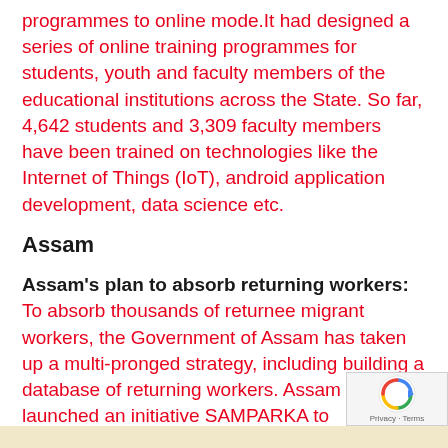programmes to online mode.It had designed a series of online training programmes for students, youth and faculty members of the educational institutions across the State. So far, 4,642 students and 3,309 faculty members have been trained on technologies like the Internet of Things (IoT), android application development, data science etc.
Assam
Assam's plan to absorb returning workers: To absorb thousands of returnee migrant workers, the Government of Assam has taken up a multi-pronged strategy, including building a database of returning workers. Assam has also launched an initiative SAMPARKA to systematically capture data of returning migrant workers.